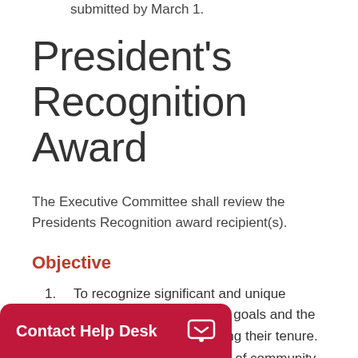submitted by March 1.
President's Recognition Award
The Executive Committee shall review the Presidents Recognition award recipient(s).
Objective
To recognize significant and unique contributions to the NASN goals and the President's initiatives during their tenure.
To recognize contributions of community nonmember volunteer(s) for service or contributions provided to NASN.
Contact Help Desk